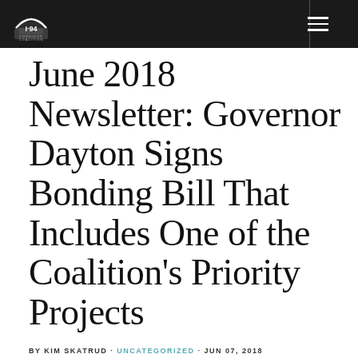I-94 Corridor Coalition
June 2018 Newsletter: Governor Dayton Signs Bonding Bill That Includes One of the Coalition's Priority Projects
BY KIM SKATRUD · UNCATEGORIZED · JUN 07, 2018